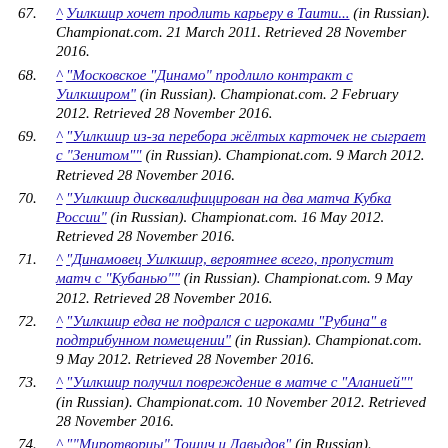^ "Уилкшир из-за перебора жёлтых карточек не сыграет с "Зенитом"" (in Russian). Championat.com. 9 March 2012. Retrieved 28 November 2016.
^ "Московское "Динамо" продлило контракт с Уилкширом" (in Russian). Championat.com. 2 February 2012. Retrieved 28 November 2016.
^ "Уилкшир из-за перебора жёлтых карточек не сыграет с "Зенитом"" (in Russian). Championat.com. 9 March 2012. Retrieved 28 November 2016.
^ "Уилкшир дисквалифицирован на два матча Кубка России" (in Russian). Championat.com. 16 May 2012. Retrieved 28 November 2016.
^ "Динамовец Уилкшир, вероятнее всего, пропустит матч с "Кубанью"" (in Russian). Championat.com. 9 May 2012. Retrieved 28 November 2016.
^ "Уилкшир едва не подрался с игроками "Рубина" в подтрибунном помещении" (in Russian). Championat.com. 9 May 2012. Retrieved 28 November 2016.
^ "Уилкшир получил повреждение в матче с "Аланией"" (in Russian). Championat.com. 10 November 2012. Retrieved 28 November 2016.
^ ""Миротворцы" Тошич и Давыдов" (in Russian). Championat.com. 12 April 2013. Retrieved 28 November 2016.
^ "Каков "Рубин" без Бердыева и Рондона?" (in Russian). Championat.com. 26 September 2013. Retrieved 28